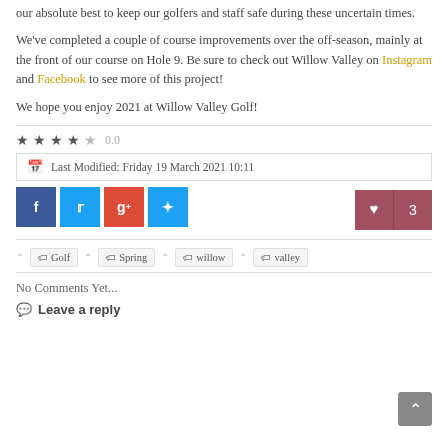our absolute best to keep our golfers and staff safe during these uncertain times.
We've completed a couple of course improvements over the off-season, mainly at the front of our course on Hole 9. Be sure to check out Willow Valley on Instagram and Facebook to see more of this project!
We hope you enjoy 2021 at Willow Valley Golf!
★★★★★ 0.0
Last Modified: Friday 19 March 2021 10:11
f  t  g+  p  ♥ 3
Golf
Spring
willow
valley
No Comments Yet...
Leave a reply